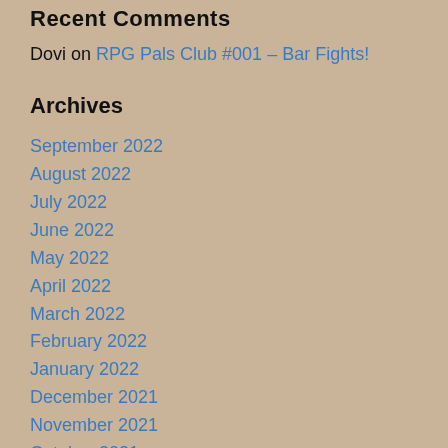Recent Comments
Dovi on RPG Pals Club #001 – Bar Fights!
Archives
September 2022
August 2022
July 2022
June 2022
May 2022
April 2022
March 2022
February 2022
January 2022
December 2021
November 2021
October 2021
September 2021